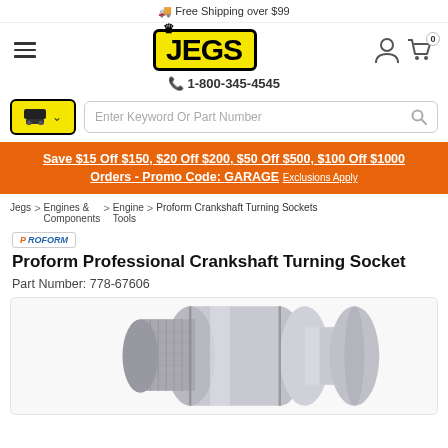🚚 Free Shipping over $99
[Figure (logo): JEGS logo in yellow with black border and crown icon]
1-800-345-4545
Save $15 Off $150, $20 Off $200, $50 Off $500, $100 Off $1000 Orders - Promo Code: GARAGE Exclusions Apply
Jegs > Engines & Components > Engine Tools > Proform Crankshaft Turning Sockets
Proform Professional Crankshaft Turning Socket
Part Number: 778-67606
[Figure (photo): Photo of a chrome/silver crankshaft turning socket tool]